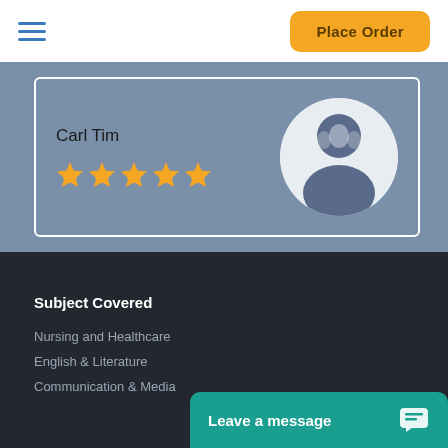[Figure (screenshot): Navigation bar with hamburger menu icon on left and Place Order button on right]
Carl Tim
[Figure (illustration): Five gold star rating]
[Figure (illustration): Circular avatar with soccer ball / person silhouette illustration]
Subject Covered
Nursing and Healthcare
English & Literature
Communication & Media
[Figure (other): Leave a message live chat button with chat icon]